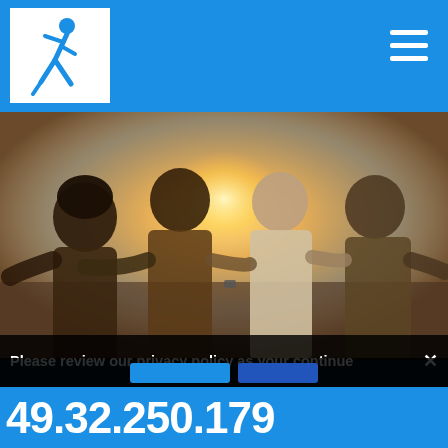[Figure (logo): Walking person logo in blue on white background]
[Figure (photo): Four people viewed from behind with arms around each other, sitting and looking toward a bright sunset / golden backlight]
Please review our privacy policy as your continue
49.32.250.179